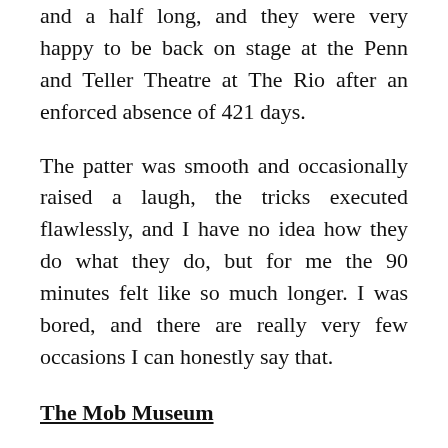and a half long, and they were very happy to be back on stage at the Penn and Teller Theatre at The Rio after an enforced absence of 421 days.
The patter was smooth and occasionally raised a laugh, the tricks executed flawlessly, and I have no idea how they do what they do, but for me the 90 minutes felt like so much longer. I was bored, and there are really very few occasions I can honestly say that.
The Mob Museum
A visit here was recommended by my former colleague Ann Timlett, thanks Ann 🙂 We had a very busy schedule that day but we managed to squeeze in a short visit, paying a happy hour